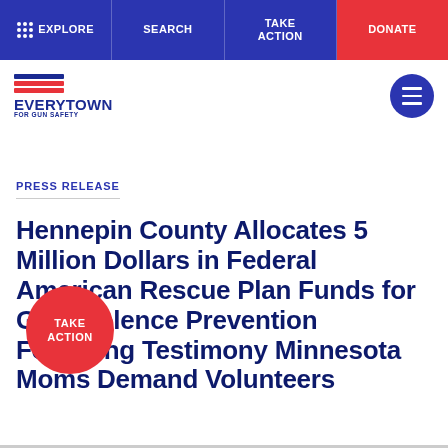EXPLORE | SEARCH | TAKE ACTION | DONATE
[Figure (logo): Everytown For Gun Safety logo with red and blue horizontal stripes above the text]
PRESS RELEASE
Hennepin County Allocates 5 Million Dollars in Federal American Rescue Plan Funds for Gun Violence Prevention Following Testimony Minnesota Moms Demand Volunteers